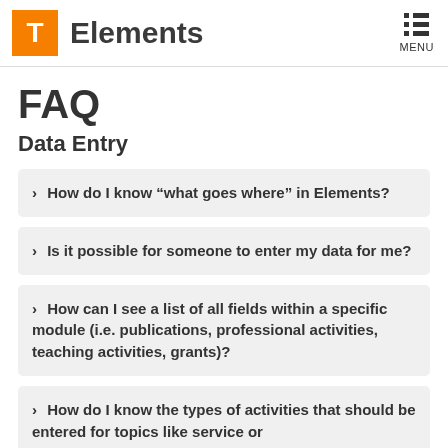T Elements MENU
FAQ
Data Entry
How do I know “what goes where” in Elements?
Is it possible for someone to enter my data for me?
How can I see a list of all fields within a specific module (i.e. publications, professional activities, teaching activities, grants)?
How do I know the types of activities that should be entered for topics like service or…